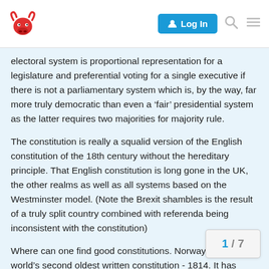Log In [search] [menu]
electoral system is proportional representation for a legislature and preferential voting for a single executive if there is not a parliamentary system which is, by the way, far more truly democratic than even a 'fair' presidential system as the latter requires two majorities for majority rule.
The constitution is really a squalid version of the English constitution of the 18th century without the hereditary principle. That English constitution is long gone in the UK, the other realms as well as all systems based on the Westminster model. (Note the Brexit shambles is the result of a truly split country combined with referenda being inconsistent with the constitution)
Where can one find good constitutions. Norway has the world's second oldest written constitution - 1814. It has evolved and changed mightily since then as the king is ceremonial and no longer the Swedish monarch, the legislature elected by proportional representation and